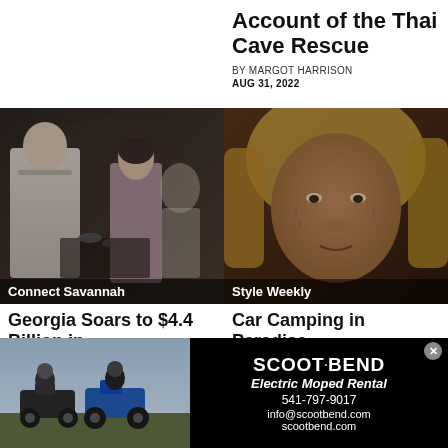Account of the Thai Cave Rescue
BY MARGOT HARRISON
AUG 31, 2022
[Figure (photo): Two people in a restaurant kitchen setting; a chef in white and a woman in a pink dress]
Connect Savannah
[Figure (photo): Close-up portrait of an older woman with blonde hair, dramatic lighting]
Style Weekly
Georgia Soars to $4.4 Billion in
Car Camping in Paradise
[Figure (photo): Advertisement for Scoot Bend Electric Moped Rental showing two mopeds parked outdoors with riders]